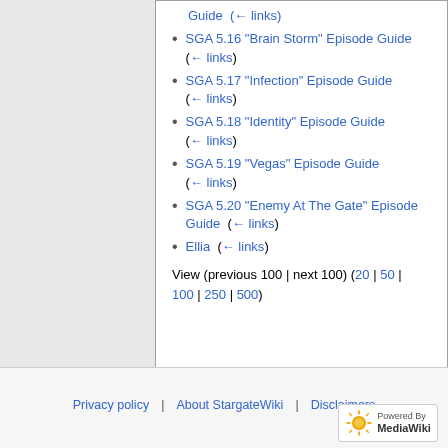SGA 5.15 "Remnants" Episode Guide (← links)
SGA 5.16 "Brain Storm" Episode Guide (← links)
SGA 5.17 "Infection" Episode Guide (← links)
SGA 5.18 "Identity" Episode Guide (← links)
SGA 5.19 "Vegas" Episode Guide (← links)
SGA 5.20 "Enemy At The Gate" Episode Guide (← links)
Ellia (← links)
View (previous 100 | next 100) (20 | 50 | 100 | 250 | 500)
Privacy policy   About StargateWiki   Disclaimers